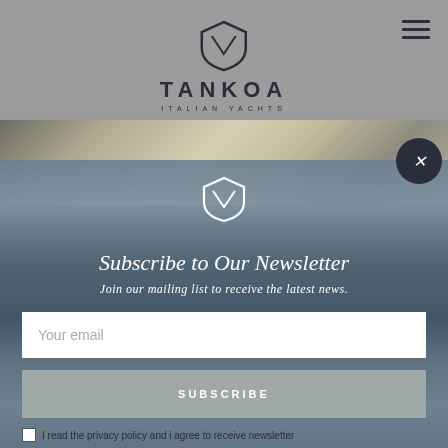[Figure (logo): Tankoa Italian Yachts logo — shield icon above text TANKOA with subtitle ITALIAN YACHTS]
[Figure (photo): Partial view of yacht interior/exterior, blurred background visible behind modal]
[Figure (logo): White Tankoa shield logo centered on modal overlay]
Subscribe to Our Newsletter
Join our mailing list to receive the latest news.
Your email
SUBSCRIBE
I read the privacy policy and i agree to receive newsletter